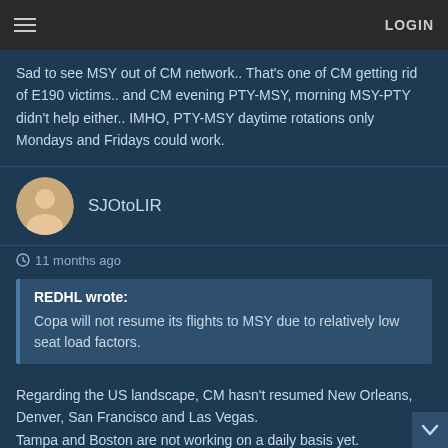LOGIN
Sad to see MSY out of CM network.. That's one of CM getting rid of E190 victims.. and CM evening PTY-MSY, morning MSY-PTY didn't help either.. IMHO, PTY-MSY daytime rotations only Mondays and Fridays could work.
SJOtoLIR
11 months ago
REDHL wrote:
Copa will not resume its flights to MSY due to relatively low seat load factors.
Regarding the US landscape, CM hasn't resumed New Orleans, Denver, San Francisco and Las Vegas.
Tampa and Boston are not working on a daily basis yet.

Regards.
Last edited by SJOtoLIR on Sat Sep 25, 2021 3:38 pm, edited 1 time in total.